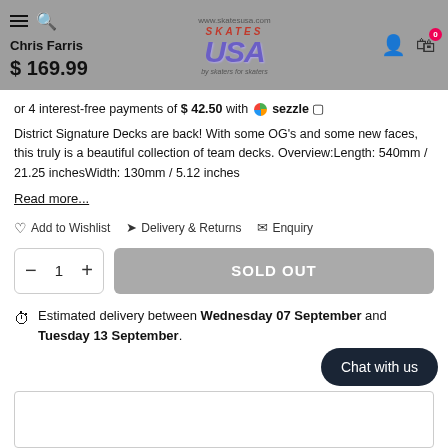Chris Farris | Skates USA | $169.99
or 4 interest-free payments of $42.50 with ◍ sezzle ⓘ
District Signature Decks are back! With some OG's and some new faces, this truly is a beautiful collection of team decks. Overview:Length: 540mm / 21.25 inchesWidth: 130mm / 5.12 inches
Read more...
Add to Wishlist   Delivery & Returns   Enquiry
SOLD OUT
Estimated delivery between Wednesday 07 September and Tuesday 13 September.
Chat with us